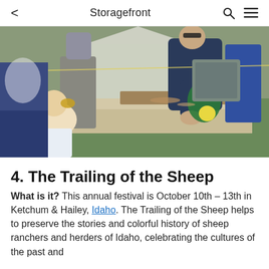Storagefront
[Figure (photo): A man leaning over a table at an outdoor festival, working with a green mechanical device on a wooden board. A young girl with a ponytail watches from the left. Other festival attendees are visible in the background.]
4. The Trailing of the Sheep
What is it? This annual festival is October 10th – 13th in Ketchum & Hailey, Idaho. The Trailing of the Sheep helps to preserve the stories and colorful history of sheep ranchers and herders of Idaho, celebrating the cultures of the past and